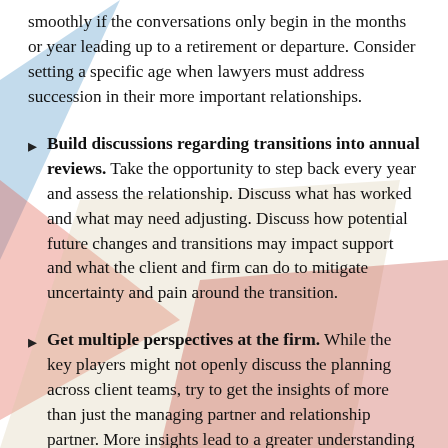smoothly if the conversations only begin in the months or year leading up to a retirement or departure. Consider setting a specific age when lawyers must address succession in their more important relationships.
Build discussions regarding transitions into annual reviews. Take the opportunity to step back every year and assess the relationship. Discuss what has worked and what may need adjusting. Discuss how potential future changes and transitions may impact support and what the client and firm can do to mitigate uncertainty and pain around the transition.
Get multiple perspectives at the firm. While the key players might not openly discuss the planning across client teams, try to get the insights of more than just the managing partner and relationship partner. More insights lead to a greater understanding of the broader relationship and a greater sense of team